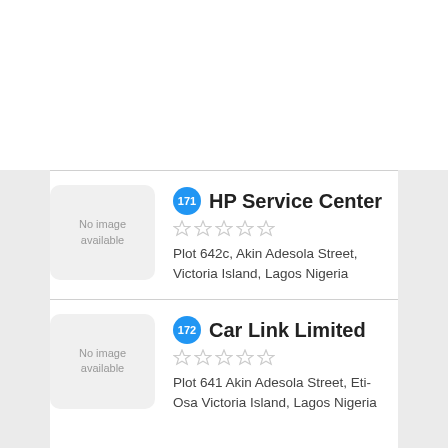No image available — HP Service Center — 171 — Plot 642c, Akin Adesola Street, Victoria Island, Lagos Nigeria
No image available — Car Link Limited — 172 — Plot 641 Akin Adesola Street, Eti-Osa Victoria Island, Lagos Nigeria